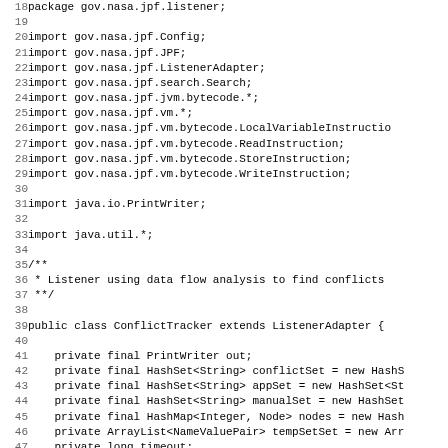Java source code listing, lines 18-50, showing imports and class definition for ConflictTracker extending ListenerAdapter